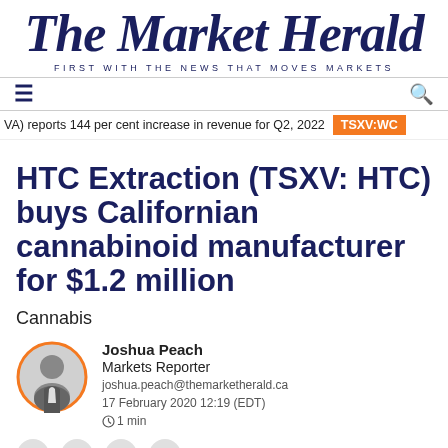The Market Herald — FIRST WITH THE NEWS THAT MOVES MARKETS
≡  🔍
(VA) reports 144 per cent increase in revenue for Q2, 2022   TSXV:WC
HTC Extraction (TSXV: HTC) buys Californian cannabinoid manufacturer for $1.2 million
Cannabis
[Figure (photo): Headshot photo of Joshua Peach, Markets Reporter, circular cropped with orange border]
Joshua Peach
Markets Reporter
joshua.peach@themarketherald.ca
17 February 2020 12:19 (EDT)
🕐1 min